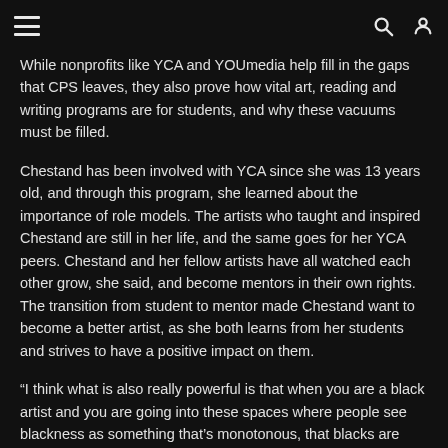≡  🔍 👤
While nonprofits like YCA and YOUmedia help fill in the gaps that CPS leaves, they also prove how vital art, reading and writing programs are for students, and why these vacuums must be filled.
Chestand has been involved with YCA since she was 13 years old, and through this program, she learned about the importance of role models. The artists who taught and inspired Chestand are still in her life, and the same goes for her YCA peers. Chestand and her fellow artists have all watched each other grow, she said, and become mentors in their own rights. The transition from student to mentor made Chestand want to become a better artist, as she both learns from her students and strives to have a positive impact on them.
“I think what is also really powerful is that when you are a black artist and you are going into these spaces where people see blackness as something that’s monotonous, that blacks are only good at one or two things or have certain driven paths, it is important to have an adult come into these spaces who has made her own path as an artist and as a person who wants to succeed, and who has a similar background as they have,” said Chestand. “It is good [for them]